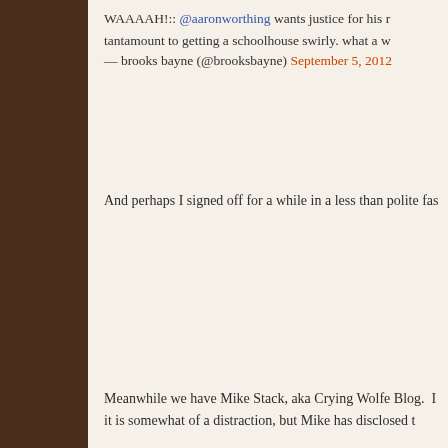WAAAAH!:: @aaronworthing wants justice for his r tantamount to getting a schoolhouse swirly. what a w
— brooks bayne (@brooksbayne) September 5, 2012
And perhaps I signed off for a while in a less than polite fas
Meanwhile we have Mike Stack, aka Crying Wolfe Blog. I it is somewhat of a distraction, but Mike has disclosed t